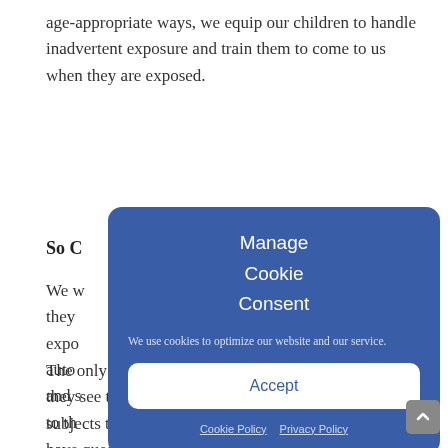age-appropriate ways, we equip our children to handle inadvertent exposure and train them to come to us when they are exposed.
So C…
We w… s if they … expo… ot auto… perty and s… eep it to th…
[Figure (screenshot): Cookie consent modal dialog with blue background showing 'Manage Cookie Consent' title, description 'We use cookies to optimize our website and our service.', an Accept button, and links to Cookie Policy and Privacy Policy.]
The only way to train kids is to talk about it. When they see that we are comfortable touching those subjects then they are more likely to ask us if they have questions. It certainly holds true in our home. My kids ask me 'weird'